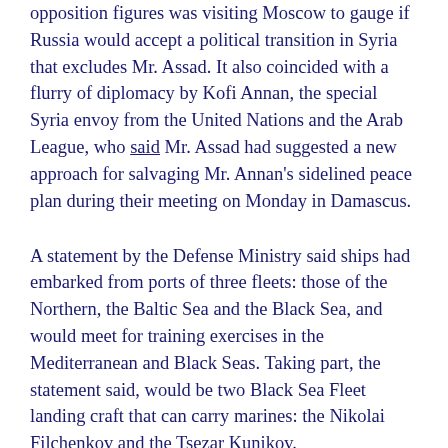opposition figures was visiting Moscow to gauge if Russia would accept a political transition in Syria that excludes Mr. Assad. It also coincided with a flurry of diplomacy by Kofi Annan, the special Syria envoy from the United Nations and the Arab League, who said Mr. Assad had suggested a new approach for salvaging Mr. Annan's sidelined peace plan during their meeting on Monday in Damascus.
A statement by the Defense Ministry said ships had embarked from ports of three fleets: those of the Northern, the Baltic Sea and the Black Sea, and would meet for training exercises in the Mediterranean and Black Seas. Taking part, the statement said, would be two Black Sea Fleet landing craft that can carry marines: the Nikolai Filchenkov and the Tsezar Kunikov.
Russia's Interfax news agency cited an unnamed military official as saying that an escort ship, the Smetlivy, would stop in Tartus for resupplying in three days — though it